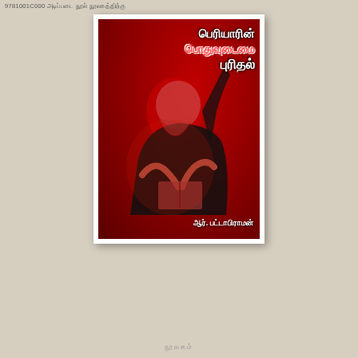9781001C000 அடிப்படை நூல் நூலகத்திற்கு
[Figure (illustration): Book cover with red background showing a bearded man reading/writing, with Tamil text title and author name. Title lines in Tamil script: பெரியாரின் பொதுவுடைமை புரிதல். Author: ஆர். பட்டாபிராமன்]
நூலகம்